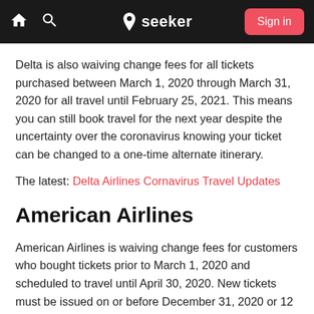seeker — Sign in
Delta is also waiving change fees for all tickets purchased between March 1, 2020 through March 31, 2020 for all travel until February 25, 2021. This means you can still book travel for the next year despite the uncertainty over the coronavirus knowing your ticket can be changed to a one-time alternate itinerary.
The latest: Delta Airlines Cornavirus Travel Updates
American Airlines
American Airlines is waiving change fees for customers who bought tickets prior to March 1, 2020 and scheduled to travel until April 30, 2020. New tickets must be issued on or before December 31, 2020 or 12 months from the ticket purchase